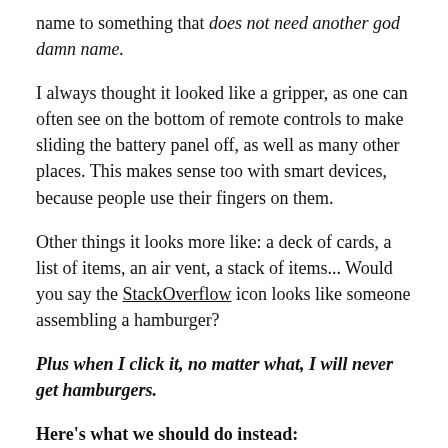name to something that does not need another god damn name.
I always thought it looked like a gripper, as one can often see on the bottom of remote controls to make sliding the battery panel off, as well as many other places. This makes sense too with smart devices, because people use their fingers on them.
Other things it looks more like: a deck of cards, a list of items, an air vent, a stack of items... Would you say the StackOverflow icon looks like someone assembling a hamburger?
Plus when I click it, no matter what, I will never get hamburgers.
Here's what we should do instead: